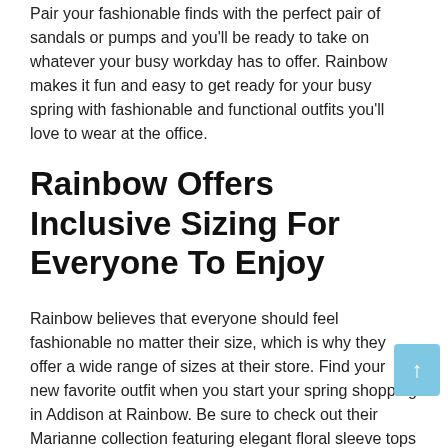Pair your fashionable finds with the perfect pair of sandals or pumps and you'll be ready to take on whatever your busy workday has to offer. Rainbow makes it fun and easy to get ready for your busy spring with fashionable and functional outfits you'll love to wear at the office.
Rainbow Offers Inclusive Sizing For Everyone To Enjoy
Rainbow believes that everyone should feel fashionable no matter their size, which is why they offer a wide range of sizes at their store. Find your new favorite outfit when you start your spring shopping in Addison at Rainbow. Be sure to check out their Marianne collection featuring elegant floral sleeve tops and flowy printed maxi dresses that will surely make heads turn this spring in Addison.
Discover The Perfect Gifts And